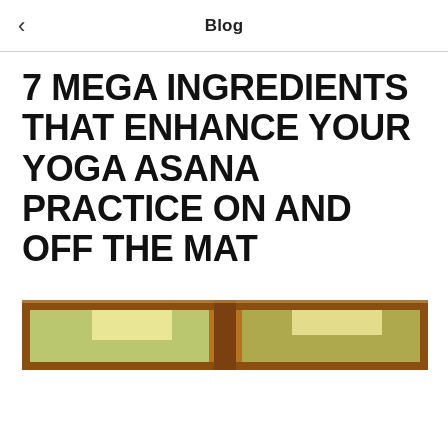Blog
7 MEGA INGREDIENTS THAT ENHANCE YOUR YOGA ASANA PRACTICE ON AND OFF THE MAT
[Figure (photo): Photograph showing wooden window frames with green foliage visible through the glass, warm brown wood tones, natural light]